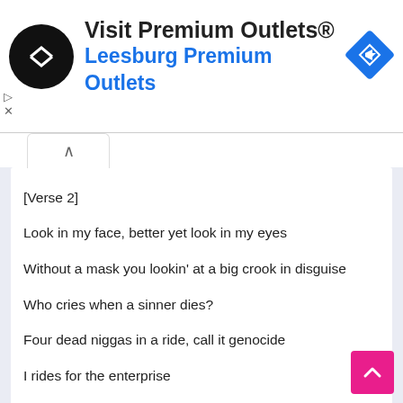[Figure (screenshot): Advertisement banner for Visit Premium Outlets - Leesburg Premium Outlets with black circular logo, blue text, and a blue diamond road sign icon]
[Verse 2]
Look in my face, better yet look in my eyes
Without a mask you lookin' at a big crook in disguise
Who cries when a sinner dies?
Four dead niggas in a ride, call it genocide
I rides for the enterprise
Million dollar ring, trynna shine 'till the end of time
Bought a Burger King with the bird money
Six months later Magic Johnson just heard from me
(Boss)
Popped up in Atlanta
You can hear them chickens fighting from the truck of that Phantom (Hah!)
Fuck a running shoot, look what I'm running through